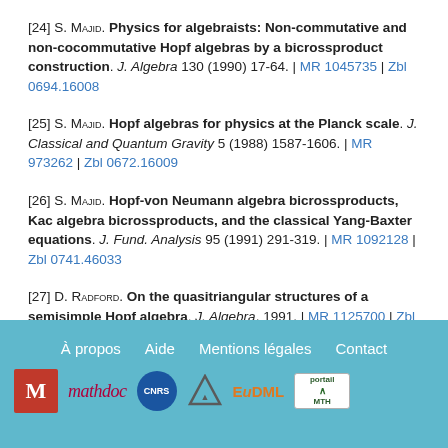[24] S. Majid. Physics for algebraists: Non-commutative and non-cocommutative Hopf algebras by a bicrossproduct construction. J. Algebra 130 (1990) 17-64. | MR 1045735 | Zbl 0694.16008
[25] S. Majid. Hopf algebras for physics at the Planck scale. J. Classical and Quantum Gravity 5 (1988) 1587-1606. | MR 973262 | Zbl 0672.16009
[26] S. Majid. Hopf-von Neumann algebra bicrossproducts, Kac algebra bicrossproducts, and the classical Yang-Baxter equations. J. Fund. Analysis 95 (1991) 291-319. | MR 1092128 | Zbl 0741.46033
[27] D. Radford. On the quasitriangular structures of a semisimple Hopf algebra. J. Algebra, 1991. | MR 1125700 | Zbl 0733.16015
À propos  Aide  Mentions légales  Contact